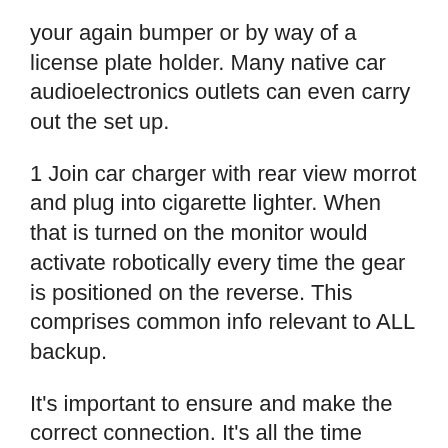your again bumper or by way of a license plate holder. Many native car audioelectronics outlets can even carry out the set up.
1 Join car charger with rear view morrot and plug into cigarette lighter. When that is turned on the monitor would activate robotically every time the gear is positioned on the reverse. This comprises common info relevant to ALL backup.
It's important to ensure and make the correct connection. It's all the time higher should you permit specialists to put in it for you. Hardwiring a rearview digicam will take some DIY abilities and will be time.
In case your car has an infotainment display screen however lacks a rearview digicam you should buy an aftermarket retrofit for 50 to 600. The compact cameras